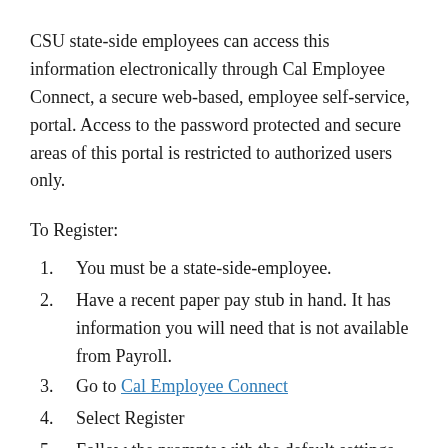CSU state-side employees can access this information electronically through Cal Employee Connect, a secure web-based, employee self-service, portal. Access to the password protected and secure areas of this portal is restricted to authorized users only.
To Register:
1. You must be a state-side-employee.
2. Have a recent paper pay stub in hand. It has information you will need that is not available from Payroll.
3. Go to Cal Employee Connect
4. Select Register
5. Follow the prompts with the default settings